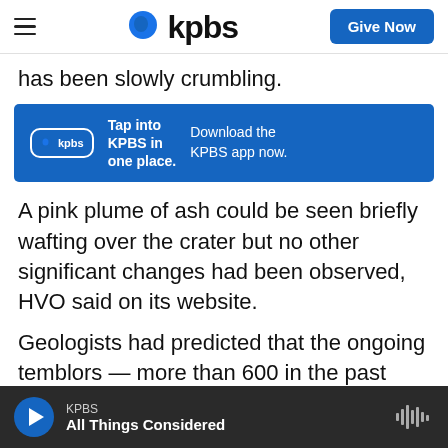kpbs — navigation bar with hamburger menu, KPBS logo, and Give Now button
has been slowly crumbling.
[Figure (infographic): KPBS app promotion banner: blue background with KPBS logo, text 'Tap into KPBS in one place.' and 'Download the KPBS app now.']
A pink plume of ash could be seen briefly wafting over the crater but no other significant changes had been observed, HVO said on its website.
Geologists had predicted that the ongoing temblors — more than 600 in the past three days — were an indication that lava could break through the surface at any time.
KPBS — All Things Considered (audio player bar)